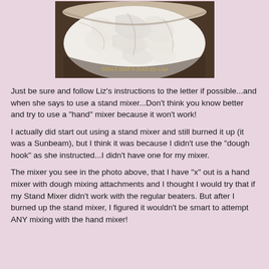[Figure (photo): Close-up photo of whipped cream or dough in a bowl, with watermark text '©2013 Stuff-n-Such By Lisa']
Just be sure and follow Liz's instructions to the letter if possible...and when she says to use a stand mixer...Don't think you know better and try to use a "hand" mixer because it won't work!
I actually did start out using a stand mixer and still burned it up (it was a Sunbeam), but I think it was because I didn't use the "dough hook" as she instructed...I didn't have one for my mixer.
The mixer you see in the photo above, that I have "x" out is a hand mixer with dough mixing attachments and I thought I would try that if my Stand Mixer didn't work with the regular beaters. But after I burned up the stand mixer, I figured it wouldn't be smart to attempt ANY mixing with the hand mixer!